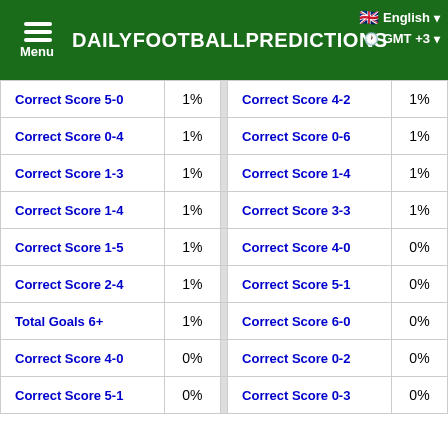DAILYFOOTBALLPREDICTIONS | Menu | English | GMT +3
| Prediction | % |  | Prediction | % |
| --- | --- | --- | --- | --- |
| Correct Score 5-0 | 1% |  | Correct Score 4-2 | 1% |
| Correct Score 0-4 | 1% |  | Correct Score 0-6 | 1% |
| Correct Score 1-3 | 1% |  | Correct Score 1-4 | 1% |
| Correct Score 1-4 | 1% |  | Correct Score 3-3 | 1% |
| Correct Score 1-5 | 1% |  | Correct Score 4-0 | 0% |
| Correct Score 2-4 | 1% |  | Correct Score 5-1 | 0% |
| Total Goals 6+ | 1% |  | Correct Score 6-0 | 0% |
| Correct Score 4-0 | 0% |  | Correct Score 0-2 | 0% |
| Correct Score 5-1 | 0% |  | Correct Score 0-3 | 0% |